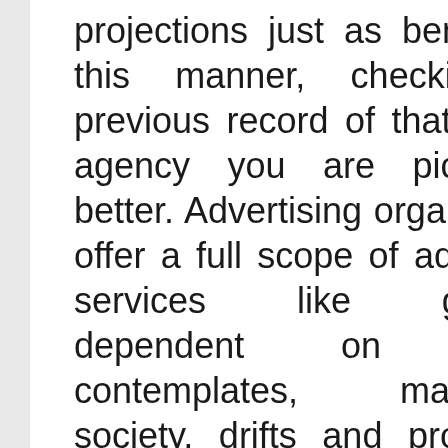projections just as benefits. In this manner, checking the previous record of that specific agency you are picking is better. Advertising organizations offer a full scope of advertising services like guidance dependent on market contemplates, mainstream society, drifts and progressed deals strategies. Since they are free, they can be unbiased about a customer's business needs. Advertising is turning into the pith of brand building activity and marketing blend. This is a direct result of the raised rivalry and a need to recognize one's items or services as brands. This need is actually